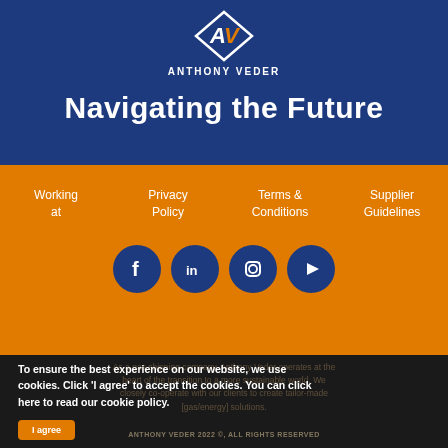[Figure (logo): Anthony Veder diamond-shaped logo with stylized AV letters in white and orange on dark blue background]
ANTHONY VEDER
Navigating the Future
Working at
Privacy Policy
Terms & Conditions
Supplier Guidelines
[Figure (infographic): Four social media icons (Facebook, LinkedIn, Instagram, YouTube) as white icons on dark blue circular backgrounds on orange background]
As a gas shipping company, Anthony Veder operates at the heart of the transition to a more sustainable world. We closely co-operate with our clients to create tailor-made [gas/energy] solutions.
To ensure the best experience on our website, we use cookies. Click 'I agree' to accept the cookies. You can click here to read our cookie policy.
ANTHONY VEDER 2022 ©, ALL RIGHTS RESERVED